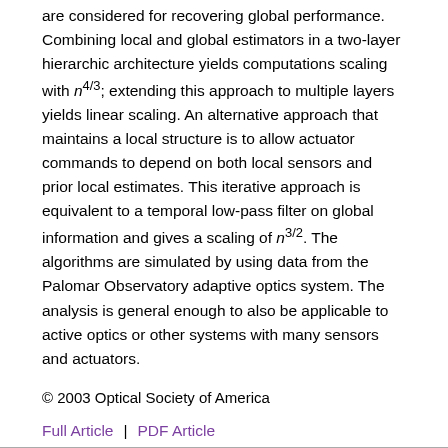are considered for recovering global performance. Combining local and global estimators in a two-layer hierarchic architecture yields computations scaling with n^(4/3); extending this approach to multiple layers yields linear scaling. An alternative approach that maintains a local structure is to allow actuator commands to depend on both local sensors and prior local estimates. This iterative approach is equivalent to a temporal low-pass filter on global information and gives a scaling of n^(3/2). The algorithms are simulated by using data from the Palomar Observatory adaptive optics system. The analysis is general enough to also be applicable to active optics or other systems with many sensors and actuators.
© 2003 Optical Society of America
Full Article | PDF Article